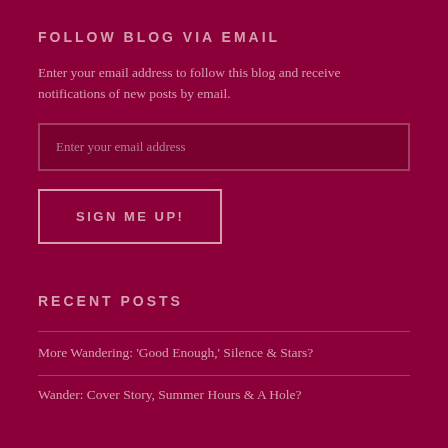FOLLOW BLOG VIA EMAIL
Enter your email address to follow this blog and receive notifications of new posts by email.
[Figure (other): Email input field with placeholder text 'Enter your email address']
[Figure (other): Button labeled 'SIGN ME UP!']
RECENT POSTS
More Wandering: 'Good Enough,' Silence & Stars?
Wander: Cover Story, Summer Hours & A Hole?